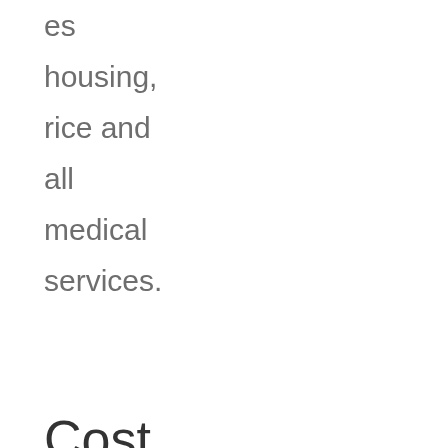es housing, rice and all medical services.
Cost
The taxi fare going to Bandar Seri Begawan costs about B$25